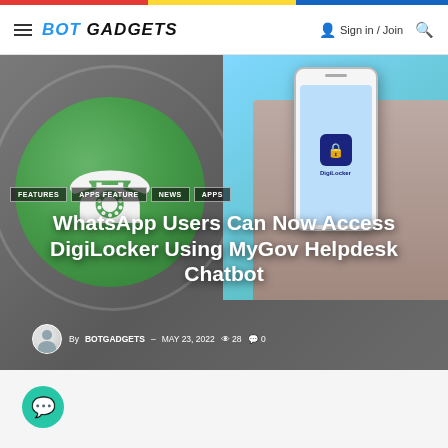BOT GADGETS — Sign in / Join
[Figure (photo): Hero image showing WhatsApp logo (green circle with phone icon) on left and a hand holding a smartphone displaying DigiLocker app on a blue background on right, with dark overlay]
FEATURES
APPS FEATURE
NEWS
APPS
WhatsApp Users Can Now Access DigiLocker Using MyGov Helpdesk Chatbot
By BOTGADGETS – MAY 23, 2022  28  0